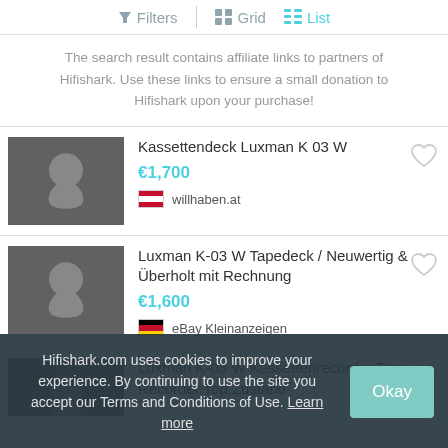Filters  Grid  List
The search result contains affiliate links to partners of Hifishark. Use these links to ensure a small donation to Hifishark upon your purchase!
Kassettendeck Luxman K 03 W — €1,700 — willhaben.at
Luxman K-03 W  Tapedeck / Neuwertig & Überholt mit Rechnung — €1,600 — eBay Kleinanzeigen
Luxman K-03 W Kassettenrecorder Tape Recorder Top Zustand — eBay Kleinanzeigen
Hifishark.com uses cookies to improve your experience. By continuing to use the site you accept our Terms and Conditions of Use. Learn more